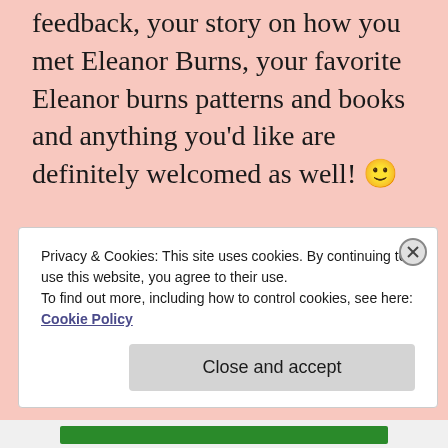feedback, your story on how you met Eleanor Burns, your favorite Eleanor burns patterns and books and anything you'd like are definitely welcomed as well! 🙂
Toodles for now,
Diana and Ray<3
Sponsored Content
Privacy & Cookies: This site uses cookies. By continuing to use this website, you agree to their use.
To find out more, including how to control cookies, see here:
Cookie Policy